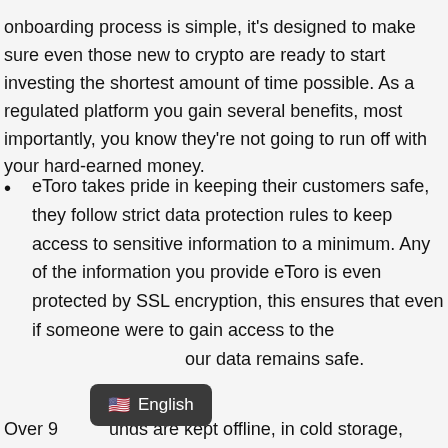onboarding process is simple, it's designed to make sure even those new to crypto are ready to start investing the shortest amount of time possible. As a regulated platform you gain several benefits, most importantly, you know they're not going to run off with your hard-earned money.
eToro takes pride in keeping their customers safe, they follow strict data protection rules to keep access to sensitive information to a minimum. Any of the information you provide eToro is even protected by SSL encryption, this ensures that even if someone were to gain access to the [data] your data remains safe.
Over 9[...] funds are kept offline, in cold storage,